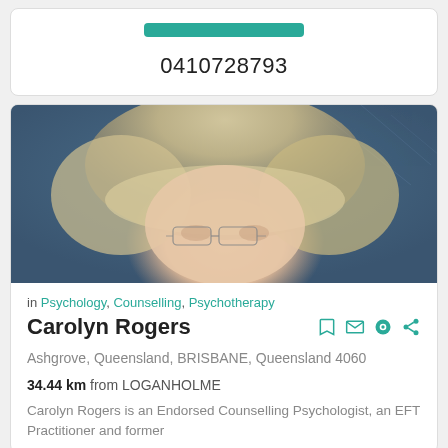0410728793
[Figure (photo): Profile photo of Carolyn Rogers, a woman with blonde/white hair and glasses, photographed against a dark blue background]
in Psychology, Counselling, Psychotherapy
Carolyn Rogers
Ashgrove, Queensland, BRISBANE, Queensland 4060
34.44 km from LOGANHOLME
Carolyn Rogers is an Endorsed Counselling Psychologist, an EFT Practitioner and former